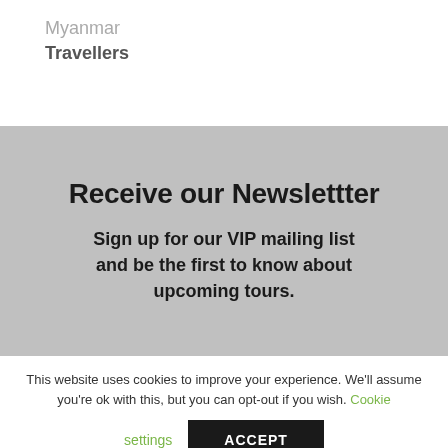Myanmar
Travellers
Receive our Newslettter
Sign up for our VIP mailing list and be the first to know about upcoming tours.
This website uses cookies to improve your experience. We'll assume you're ok with this, but you can opt-out if you wish. Cookie settings ACCEPT